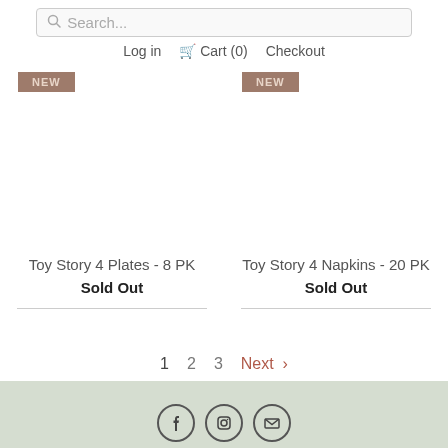Search... | Log in | Cart (0) | Checkout
NEW
NEW
Toy Story 4 Plates - 8 PK
Sold Out
Toy Story 4 Napkins - 20 PK
Sold Out
1  2  3  Next >
Social icons: Facebook, Instagram, Email